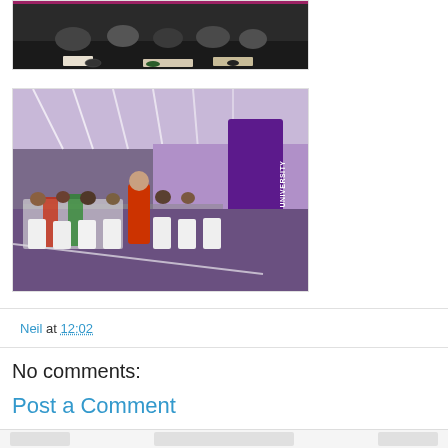[Figure (photo): Partial photo at top showing people sitting on the floor in a sports hall, black floor, some papers visible]
[Figure (photo): Indoor event photo showing people seated at white plastic chairs and tables in a large hall. A purple Loughborough University vertical banner is visible on the right side. Stage with pink and purple lighting in the background.]
Neil at 12:02
No comments:
Post a Comment